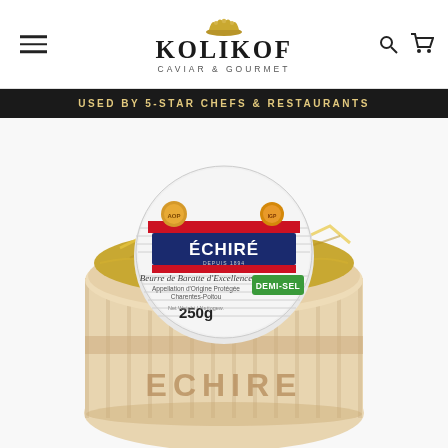KOLIKOF CAVIAR & GOURMET — navigation header
USED BY 5-STAR CHEFS & RESTAURANTS
[Figure (photo): Échiré Demi-Sel butter 250g in a wooden barrel basket with gold foil wrapping. The round label shows 'ÉCHIRÉ' in white text on a navy blue background with red stripe, 'Beurre de Baratte d'Excellence', 'Appellation d'Origine Protégée Charentes-Poitou', 'DEMI-SEL' in a green badge, and '250g' net weight. The wooden basket has 'ECHIRE' branded on the side.]